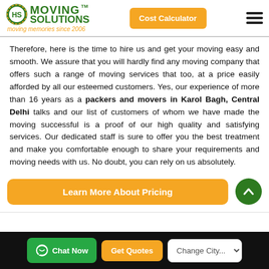Moving Solutions TM — moving memories since 2006 | Cost Calculator
Therefore, here is the time to hire us and get your moving easy and smooth. We assure that you will hardly find any moving company that offers such a range of moving services that too, at a price easily afforded by all our esteemed customers. Yes, our experience of more than 16 years as a packers and movers in Karol Bagh, Central Delhi talks and our list of customers of whom we have made the moving successful is a proof of our high quality and satisfying services. Our dedicated staff is sure to offer you the best treatment and make you comfortable enough to share your requirements and moving needs with us. No doubt, you can rely on us absolutely.
[Figure (other): Orange 'Learn More About Pricing' button and green circular up-arrow button]
Chat Now | Get Quotes | Change City...